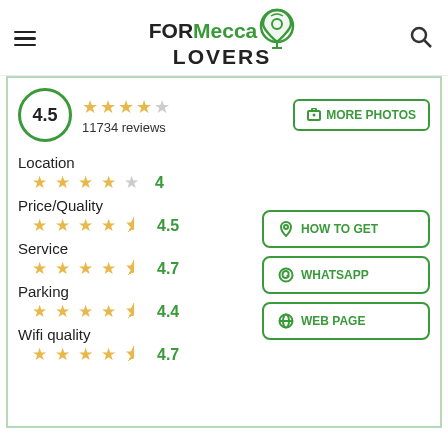[Figure (logo): FORMecca LOVERS logo with location pin icon]
4.5
11734 reviews
MORE PHOTOS
Location
4
Price/Quality
4.5
Service
4.7
Parking
4.4
Wifi quality
4.7
HOW TO GET
WHATSAPP
WEB PAGE